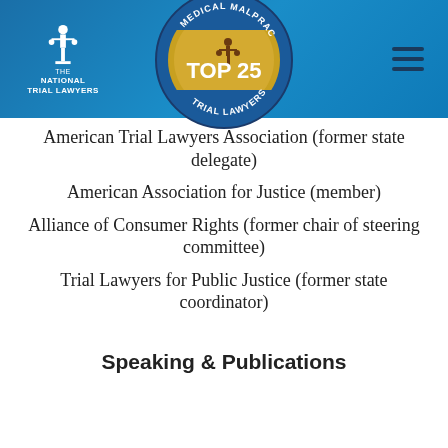[Figure (logo): National Trial Lawyers logo with figure holding scales of justice, white text on blue background]
[Figure (logo): Medical Malpractice Top 25 Trial Lawyers circular gold and blue badge]
American Trial Lawyers Association (former state delegate)
American Association for Justice (member)
Alliance of Consumer Rights (former chair of steering committee)
Trial Lawyers for Public Justice (former state coordinator)
Speaking & Publications